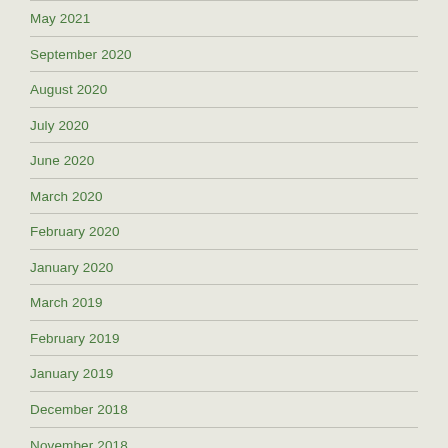May 2021
September 2020
August 2020
July 2020
June 2020
March 2020
February 2020
January 2020
March 2019
February 2019
January 2019
December 2018
November 2018
October 2018